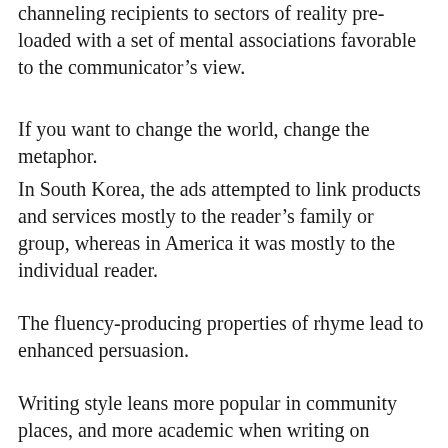channeling recipients to sectors of reality pre-loaded with a set of mental associations favorable to the communicator's view.
If you want to change the world, change the metaphor.
In South Korea, the ads attempted to link products and services mostly to the reader's family or group, whereas in America it was mostly to the individual reader.
The fluency-producing properties of rhyme lead to enhanced persuasion.
Writing style leans more popular in community places, and more academic when writing on campus